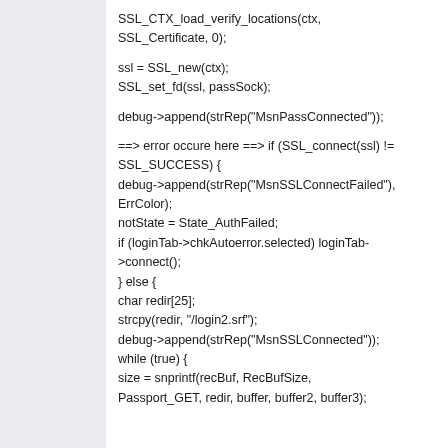SSL_CTX_load_verify_locations(ctx, SSL_Certificate, 0);

ssl = SSL_new(ctx);
SSL_set_fd(ssl, passSock);

debug->append(strRep("MsnPassConnected"));

==> error occure here ==> if (SSL_connect(ssl) != SSL_SUCCESS) {
debug->append(strRep("MsnSSLConnectFailed"), ErrColor);
notState = State_AuthFailed;
if (loginTab->chkAutoerror.selected) loginTab->connect();
} else {
char redir[25];
strcpy(redir, "/login2.srf");
debug->append(strRep("MsnSSLConnected"));
while (true) {
size = snprintf(recBuf, RecBufSize, Passport_GET, redir, buffer, buffer2, buffer3);